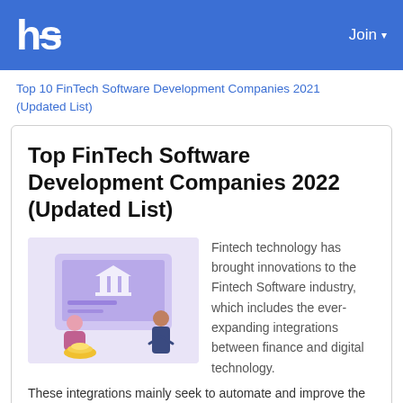hs   Join ▾
Top 10 FinTech Software Development Companies 2021 (Updated List)
Top FinTech Software Development Companies 2022 (Updated List)
[Figure (illustration): Illustration of two people using fintech/banking software on a large screen, with a bank building icon and coins, on a purple background]
Fintech technology has brought innovations to the Fintech Software industry, which includes the ever-expanding integrations between finance and digital technology. These integrations mainly seek to automate and improve the use and provision of services to fintech software companies and consumers.  Previously, Fintech